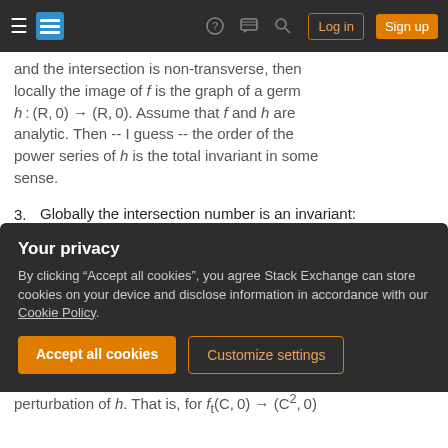Stack Exchange navigation bar with hamburger menu, logo, help, chat, search icons, Log in and Sign up buttons
and the intersection is non-transverse, then locally the image of f is the graph of a germ h:(R, 0) → (R, 0). Assume that f and h are analytic. Then -- I guess -- the order of the power series of h is the total invariant in some sense.
3. Globally the intersection number is an invariant: if K and L are closed oriented submanifolds of an oriented manifold N, their intersection number is the algebraic number of their transverse intersection points. No matter, how
Your privacy
By clicking "Accept all cookies", you agree Stack Exchange can store cookies on your device and disclose information in accordance with our Cookie Policy.
perturbation of h. That is, for f:(C, 0) → (C², 0)